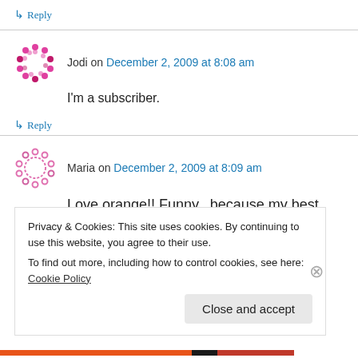↳ Reply
Jodi on December 2, 2009 at 8:08 am
I'm a subscriber.
↳ Reply
Maria on December 2, 2009 at 8:09 am
Love orange!! Funny...because my best
Privacy & Cookies: This site uses cookies. By continuing to use this website, you agree to their use. To find out more, including how to control cookies, see here: Cookie Policy
Close and accept